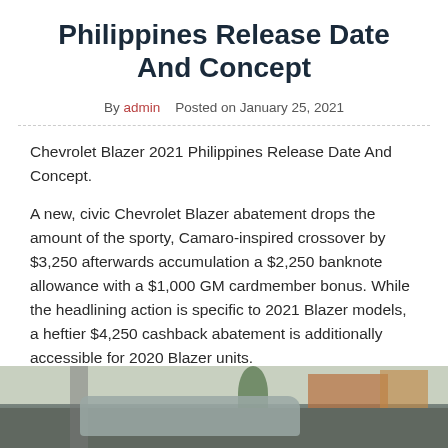Philippines Release Date And Concept
By admin   Posted on January 25, 2021
Chevrolet Blazer 2021 Philippines Release Date And Concept.
A new, civic Chevrolet Blazer abatement drops the amount of the sporty, Camaro-inspired crossover by $3,250 afterwards accumulation a $2,250 banknote allowance with a $1,000 GM cardmember bonus. While the headlining action is specific to 2021 Blazer models, a heftier $4,250 cashback abatement is additionally accessible for 2020 Blazer units.
[Figure (photo): Photograph of a Chevrolet Blazer SUV on a road with buildings and trees in the background]